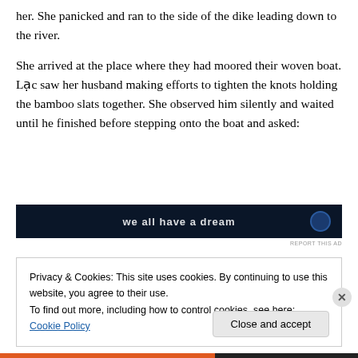her. She panicked and ran to the side of the dike leading down to the river.
She arrived at the place where they had moored their woven boat. Lạc saw her husband making efforts to tighten the knots holding the bamboo slats together. She observed him silently and waited until he finished before stepping onto the boat and asked:
[Figure (other): Dark navy advertisement banner with white bold text and a circular logo element on the right.]
REPORT THIS AD
Privacy & Cookies: This site uses cookies. By continuing to use this website, you agree to their use.
To find out more, including how to control cookies, see here: Cookie Policy
Close and accept